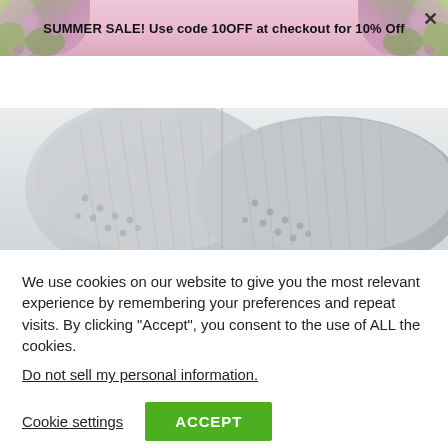SUMMER SALE! Use code 10OFF at checkout for 10% Off
[Figure (screenshot): Gadgets 4 Gifts website navigation bar with hamburger menu, logo, search and cart icons]
[Figure (photo): Close-up photo of grey socks with grip dots on a light background]
We use cookies on our website to give you the most relevant experience by remembering your preferences and repeat visits. By clicking “Accept”, you consent to the use of ALL the cookies.
Do not sell my personal information.
Cookie settings
ACCEPT